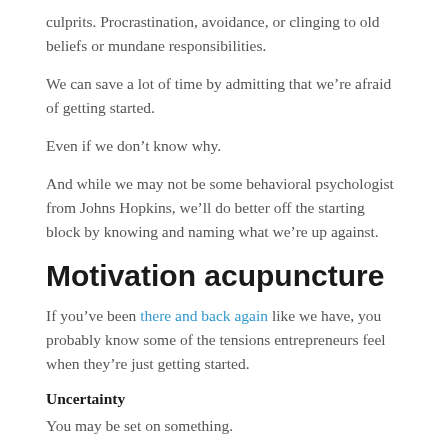culprits. Procrastination, avoidance, or clinging to old beliefs or mundane responsibilities.
We can save a lot of time by admitting that we're afraid of getting started.
Even if we don't know why.
And while we may not be some behavioral psychologist from Johns Hopkins, we'll do better off the starting block by knowing and naming what we're up against.
Motivation acupuncture
If you've been there and back again like we have, you probably know some of the tensions entrepreneurs feel when they're just getting started.
Uncertainty
You may be set on something.